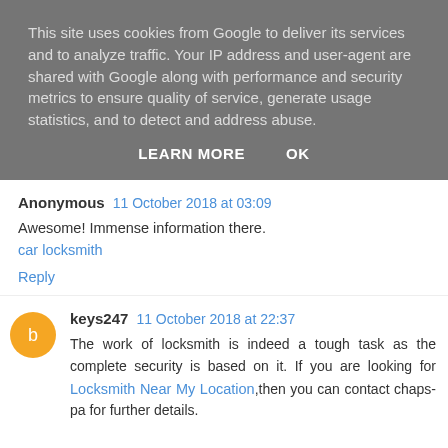This site uses cookies from Google to deliver its services and to analyze traffic. Your IP address and user-agent are shared with Google along with performance and security metrics to ensure quality of service, generate usage statistics, and to detect and address abuse.
LEARN MORE   OK
Anonymous  11 October 2018 at 03:09
Awesome! Immense information there.
car locksmith
Reply
keys247  11 October 2018 at 22:37
The work of locksmith is indeed a tough task as the complete security is based on it. If you are looking for Locksmith Near My Location,then you can contact chaps-pa for further details.